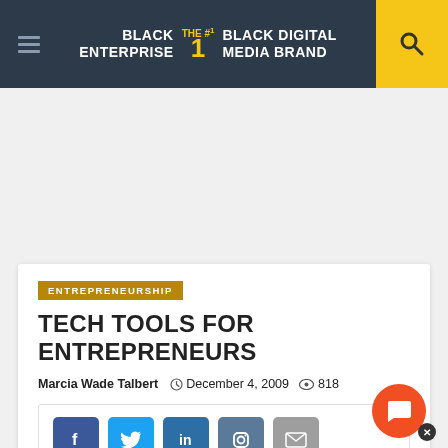BLACK ENTERPRISE THE #1 BLACK DIGITAL MEDIA BRAND
ENTREPRENEURSHIP
TECH TOOLS FOR ENTREPRENEURS
Marcia Wade Talbert  December 4, 2009  818
[Figure (screenshot): Social sharing buttons: Facebook (blue), Twitter (light blue), LinkedIn (dark blue), Instagram (steel blue), Email (grey)]